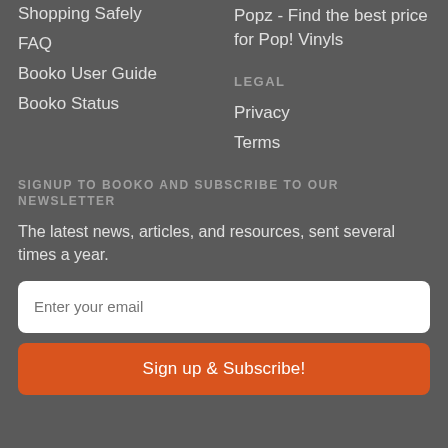Shopping Safely
FAQ
Booko User Guide
Booko Status
Popz - Find the best price for Pop! Vinyls
LEGAL
Privacy
Terms
SIGNUP TO BOOKO AND SUBSCRIBE TO OUR NEWSLETTER
The latest news, articles, and resources, sent several times a year.
Enter your email
Sign up & Subscribe!